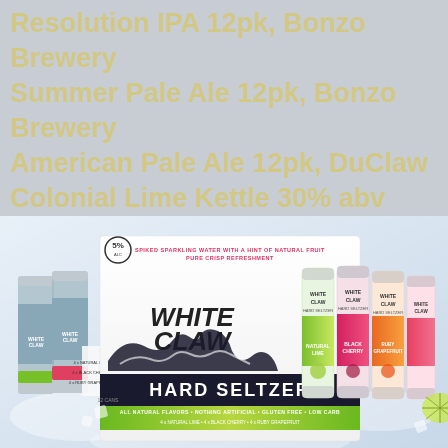Resolution IPA 12pk, Bonzo Brewery Summer Pale Ale 12pk, Bonzo Brewery American Pale Ale 12pk, DuClaw Colonial Lime Kettle 30% abv Epic Oak & Orchard Strawberry Rhubarb's 52 New Road !
[Figure (photo): White Claw Hard Seltzer 12-can variety pack box featuring Natural Lime, Black Cherry, and Ruby Grapefruit flavors. The box is white with the large White Claw wave logo and shows individual cans. Text reads: Spiked Sparkling Water With A Hint Of Natural Fruit Pure Crisp Refreshment. 5% Alc. All Natural Flavors, Nothing Artificial, Gluten Free, Low Carb. 4x Natural Lime, 4x Black Cherry, 4x Ruby Grapefruit. 12 cans.]